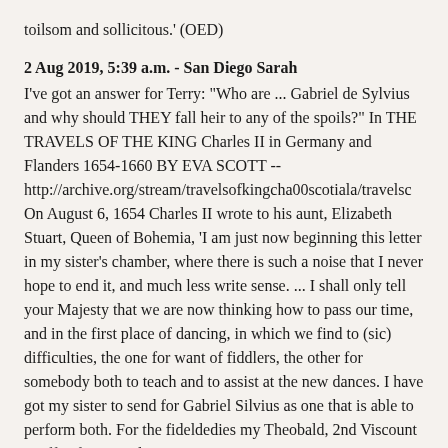toilsom and sollicitous.' (OED)
2 Aug 2019, 5:39 a.m. - San Diego Sarah
I've got an answer for Terry: "Who are ... Gabriel de Sylvius and why should THEY fall heir to any of the spoils?" In THE TRAVELS OF THE KING Charles II in Germany and Flanders 1654-1660 BY EVA SCOTT -- http://archive.org/stream/travelsofkingcha00scotiala/travelsc On August 6, 1654 Charles II wrote to his aunt, Elizabeth Stuart, Queen of Bohemia, 'I am just now beginning this letter in my sister's chamber, where there is such a noise that I never hope to end it, and much less write sense. ... I shall only tell your Majesty that we are now thinking how to pass our time, and in the first place of dancing, in which we find to (sic) difficulties, the one for want of fiddlers, the other for somebody both to teach and to assist at the new dances. I have got my sister to send for Gabriel Silvius as one that is able to perform both. For the fideldedies my Theobald, 2nd Viscount Taaffe of Corren does promise to